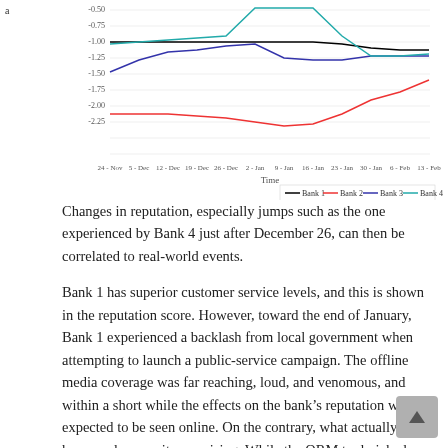[Figure (line-chart): Reputation scores over time]
Changes in reputation, especially jumps such as the one experienced by Bank 4 just after December 26, can then be correlated to real-world events.
Bank 1 has superior customer service levels, and this is shown in the reputation score. However, toward the end of January, Bank 1 experienced a backlash from local government when attempting to launch a public-service campaign. The offline media coverage was far reaching, loud, and venomous, and within a short while the effects on the bank's reputation were expected to be seen online. On the contrary, what actually happened was quite surprising. While the ORM tool picked up a number of negative mentions, these were in fact directed at